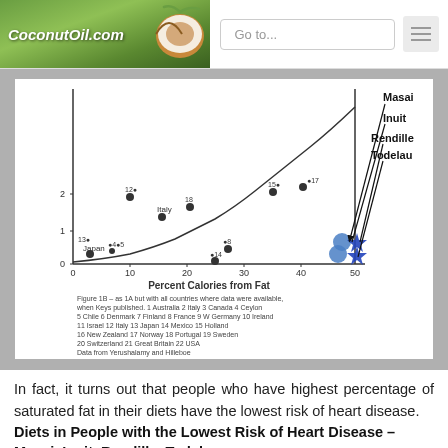CoconutOil.com | Go to...
[Figure (scatter-plot): Scatter plot showing percent calories from fat (x-axis, 0-50) vs. coronary heart disease mortality (y-axis, 0-2+). Points labeled with country numbers (1-22) including Italy, Japan visible. A curve fits most points. Blue circle markers indicate Masai and Inuit; blue star markers indicate Rendille and Todelau, all at far right (~50% fat) with very low mortality. Legend arrows label: Masai, Inuit, Rendille, Todelau. Caption: Figure 1B – as 1A but with all countries where data were available when Keys published. 1 Australia 2 Italy 3 Canada 4 Ceylon 5 Chile 6 Denmark 7 Finland 8 France 9 W Germany 10 Ireland 11 Israel 12 Italy 13 Japan 14 Mexico 15 Holland 16 New Zealand 17 Norway 18 Portugal 19 Sweden 20 Switzerland 21 Great Britain 22 USA. Data from Yerushalamy and Hilleboe.]
In fact, it turns out that people who have highest percentage of saturated fat in their diets have the lowest risk of heart disease.
Diets in People with the Lowest Risk of Heart Disease – Masai, Inuit, Rendille, Todelau
The diets of the Masai tribe in Kenya and northern Tanzania,